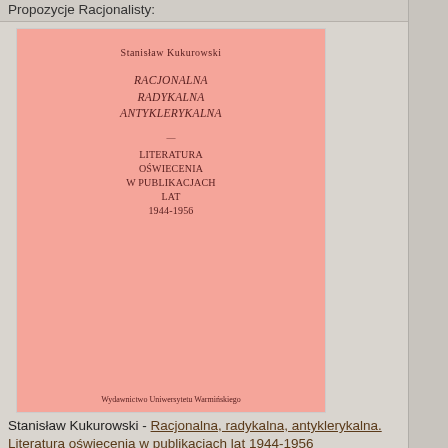Propozycje Racjonalisty:
[Figure (photo): Book cover image: pink/salmon colored cover of 'Racjonalna Radykalna Antyklerykalna Literatura Oświecenia w Publikacjach Lat 1944-1956' by Stanisław Kukurowski]
Stanisław Kukurowski - Racjonalna, radykalna, antyklerykalna. Literatura oświecenia w publikacjach lat 1944-1956
Mariusz Wołos - O Piłsudskim, Dmowskim i zamachu majowym. Dyplomacja sowiecka wobec Polski w okresie kryzysu politycznego 1925-1926
Michel Onfray - Zmierzch bożyszcza
John Diamond - Cudowne mikstury. Podręcznik sceptyka
Umberto Eco - Cmentarz w Pradze
Znajdź książkę